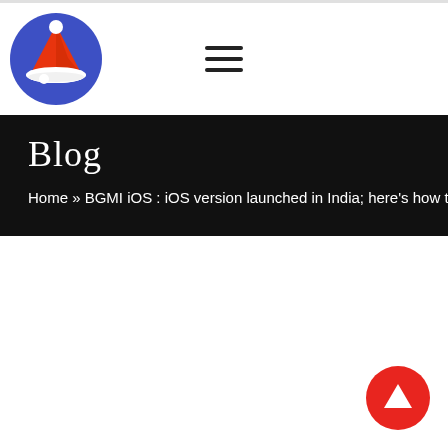[Figure (logo): Circular logo with red santa hat and white/blue design on dark blue circle background]
[Figure (other): Hamburger menu icon with three horizontal black lines]
Blog
Home » BGMI iOS : iOS version launched in India; here's how to
[Figure (other): Red circular scroll-to-top button with white upward triangle arrow]